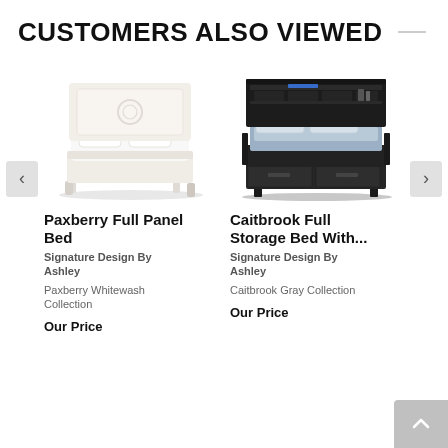CUSTOMERS ALSO VIEWED
[Figure (photo): White upholstered full panel bed (Paxberry Whitewash)]
[Figure (photo): Dark gray full storage bed with bookcase headboard and LED light (Caitbrook Gray)]
Paxberry Full Panel Bed
Caitbrook Full Storage Bed With...
Signature Design By Ashley
Signature Design By Ashley
Paxberry Whitewash Collection
Caitbrook Gray Collection
Our Price
Our Price